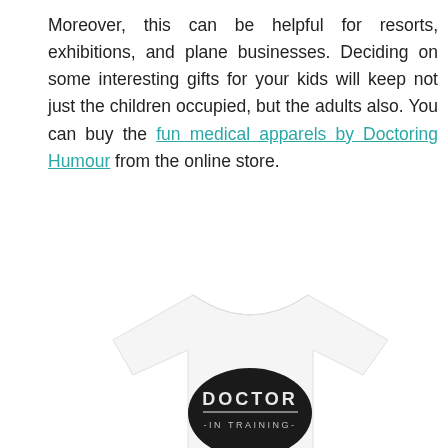Moreover, this can be helpful for resorts, exhibitions, and plane businesses. Deciding on some interesting gifts for your kids will keep not just the children occupied, but the adults also. You can buy the fun medical apparels by Doctoring Humour from the online store.
[Figure (photo): A white t-shirt with a black oval graphic on the chest reading 'DOCTOR IN TRAINING'. Social media share buttons (Facebook, Google+, Twitter, share) are shown on the left side of the image.]